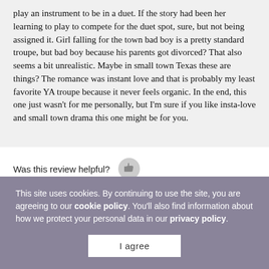play an instrument to be in a duet. If the story had been her learning to play to compete for the duet spot, sure, but not being assigned it. Girl falling for the town bad boy is a pretty standard troupe, but bad boy because his parents got divorced? That also seems a bit unrealistic. Maybe in small town Texas these are things? The romance was instant love and that is probably my least favorite YA troupe because it never feels organic. In the end, this one just wasn't for me personally, but I'm sure if you like insta-love and small town drama this one might be for you.
Was this review helpful?
This site uses cookies. By continuing to use the site, you are agreeing to our cookie policy. You'll also find information about how we protect your personal data in our privacy policy.
I agree